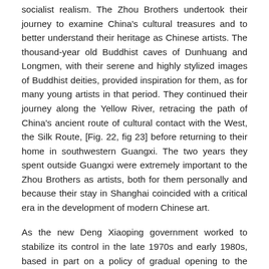socialist realism.  The Zhou Brothers undertook their journey to examine China's cultural treasures and to better understand their heritage as Chinese artists. The thousand-year old Buddhist caves of Dunhuang and Longmen, with their serene and highly stylized images of Buddhist deities, provided inspiration for them, as for many young artists in that period.  They continued their journey along the Yellow River, retracing the path of China's ancient route of cultural contact with the West, the Silk Route, [Fig. 22, fig 23] before returning to their home in southwestern Guangxi.   The two years they spent outside Guangxi were extremely important to the Zhou Brothers as artists, both for them personally and because their stay in Shanghai coincided with a critical era in the development of modern Chinese art.
As the new Deng Xiaoping government worked to stabilize its control in the late 1970s and early 1980s, based in part on a policy of gradual opening to the international community, artistic experimentation was